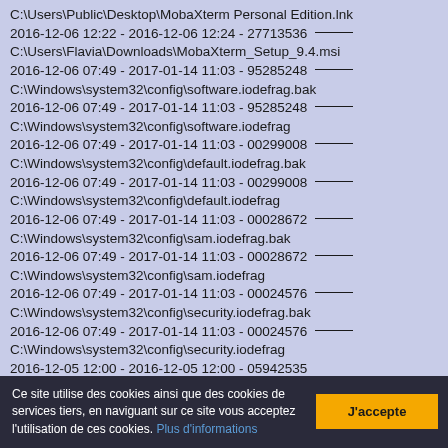C:\Users\Public\Desktop\MobaXterm Personal Edition.lnk
2016-12-06 12:22 - 2016-12-06 12:24 - 27713536 _____
C:\Users\Flavia\Downloads\MobaXterm_Setup_9.4.msi
2016-12-06 07:49 - 2017-01-14 11:03 - 95285248 _____
C:\Windows\system32\config\software.iodefrag.bak
2016-12-06 07:49 - 2017-01-14 11:03 - 95285248 _____
C:\Windows\system32\config\software.iodefrag
2016-12-06 07:49 - 2017-01-14 11:03 - 00299008 _____
C:\Windows\system32\config\default.iodefrag.bak
2016-12-06 07:49 - 2017-01-14 11:03 - 00299008 _____
C:\Windows\system32\config\default.iodefrag
2016-12-06 07:49 - 2017-01-14 11:03 - 00028672 _____
C:\Windows\system32\config\sam.iodefrag.bak
2016-12-06 07:49 - 2017-01-14 11:03 - 00028672 _____
C:\Windows\system32\config\sam.iodefrag
2016-12-06 07:49 - 2017-01-14 11:03 - 00024576 _____
C:\Windows\system32\config\security.iodefrag.bak
2016-12-06 07:49 - 2017-01-14 11:03 - 00024576 _____
C:\Windows\system32\config\security.iodefrag
2016-12-05 12:00 - 2016-12-05 12:00 - 05942535
Ce site utilise des cookies ainsi que des cookies de services tiers, en naviguant sur ce site vous acceptez l'utilisation de ces cookies. Plus d'informations